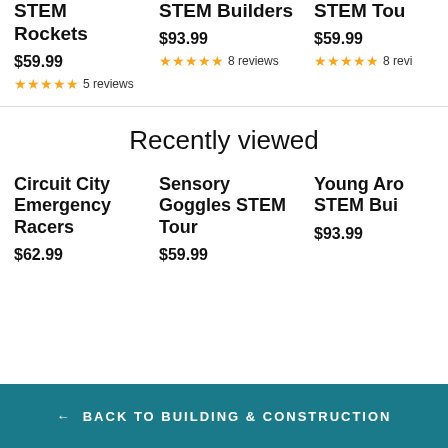STEM Rockets
$59.99
5 reviews
STEM Builders
$93.99
8 reviews
STEM Tou...
$59.99
8 revi...
Recently viewed
Circuit City Emergency Racers
$62.99
Sensory Goggles STEM Tour
$59.99
Young Aro... STEM Bui...
$93.99
← BACK TO BUILDING & CONSTRUCTION